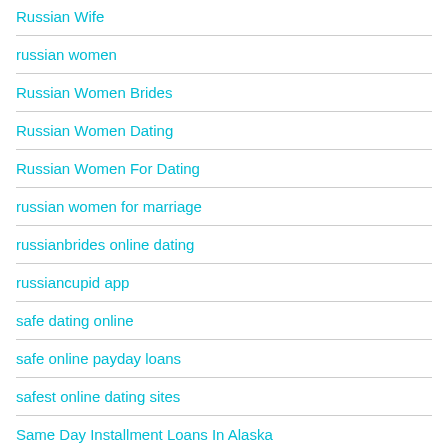Russian Wife
russian women
Russian Women Brides
Russian Women Dating
Russian Women For Dating
russian women for marriage
russianbrides online dating
russiancupid app
safe dating online
safe online payday loans
safest online dating sites
Same Day Installment Loans In Alaska
Same Day Installment Loans In Arizona